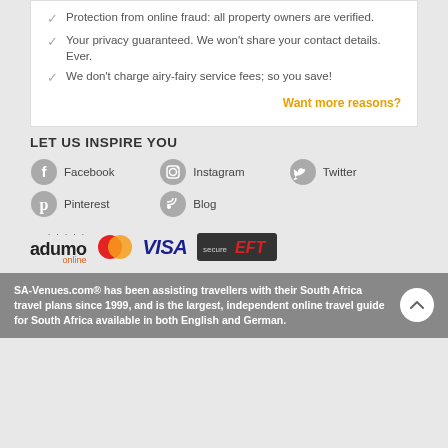Protection from online fraud: all property owners are verified.
Your privacy guaranteed. We won't share your contact details. Ever.
We don't charge airy-fairy service fees; so you save!
Want more reasons?
LET US INSPIRE YOU
[Figure (infographic): Social media icons and labels: Facebook, Instagram, Twitter, Pinterest, Blog]
[Figure (infographic): Payment logos: adumo online, Mastercard, VISA, Secure EFT]
SA-Venues.com® has been assisting travellers with their South Africa travel plans since 1999, and is the largest, independent online travel guide for South Africa available in both English and German.